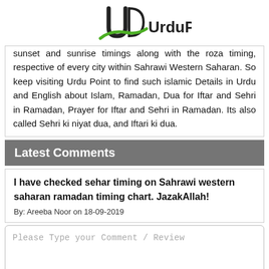UrduPoint
sunset and sunrise timings along with the roza timing, respective of every city within Sahrawi Western Saharan. So keep visiting Urdu Point to find such islamic Details in Urdu and English about Islam, Ramadan, Dua for Iftar and Sehri in Ramadan, Prayer for Iftar and Sehri in Ramadan. Its also called Sehri ki niyat dua, and Iftari ki dua.
Latest Comments
I have checked sehar timing on Sahrawi western saharan ramadan timing chart. JazakAllah!
By: Areeba Noor on 18-09-2019
Please Type your Comment / Review